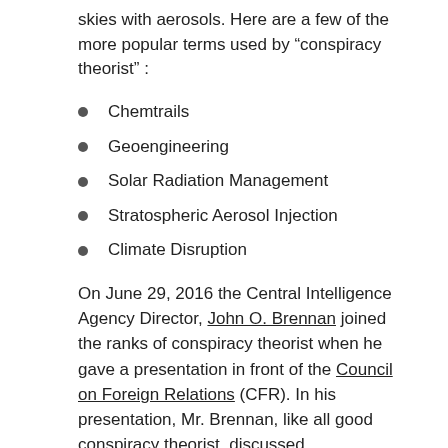skies with aerosols. Here are a few of the more popular terms used by “conspiracy theorist” :
Chemtrails
Geoengineering
Solar Radiation Management
Stratospheric Aerosol Injection
Climate Disruption
On June 29, 2016 the Central Intelligence Agency Director, John O. Brennan joined the ranks of conspiracy theorist when he gave a presentation in front of the Council on Foreign Relations (CFR). In his presentation, Mr. Brennan, like all good conspiracy theorist, discussed Geoengineering or Stratospheric Aerosol Injection (SAI), which is a method of seeding the stratosphere with particles that can reflect the sun’s heat, in much the same way that volcanic eruptions do.
In his talk Brennan admits that SAI can alter weather patte in certain regions of the world, at the expence of other